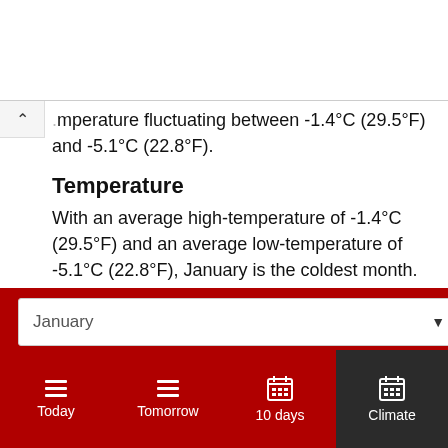…temperature fluctuating between -1.4°C (29.5°F) and -5.1°C (22.8°F).
Temperature
With an average high-temperature of -1.4°C (29.5°F) and an average low-temperature of -5.1°C (22.8°F), January is the coldest month.
Humidity
January
Today | Tomorrow | 10 days | Climate